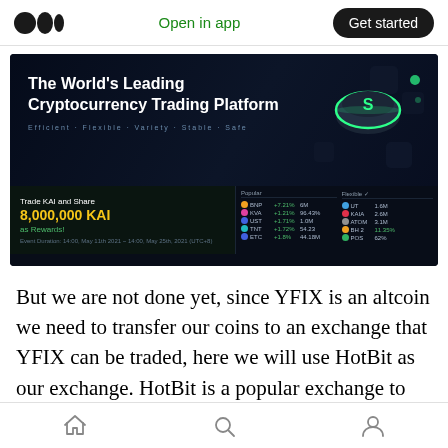Open in app  Get started
[Figure (screenshot): HotBit exchange banner: 'The World's Leading Cryptocurrency Trading Platform' with a 'Trade KAI and Share 8,000,000 KAI as Rewards!' promotion and a live market data table showing coin prices and percentage changes.]
But we are not done yet, since YFIX is an altcoin we need to transfer our coins to an exchange that YFIX can be traded, here we will use HotBit as our exchange. HotBit is a popular exchange to trade altcoins and it has a large number of